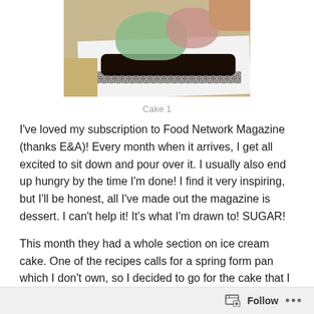[Figure (photo): Photo of a piece of ice cream cake on a white surface, showing layers of green and pink ice cream with dark chocolate cookie crumble base, with a hand visible at the top right]
Cake 1
I've loved my subscription to Food Network Magazine (thanks E&A)! Every month when it arrives, I get all excited to sit down and pour over it. I usually also end up hungry by the time I'm done! I find it very inspiring, but I'll be honest, all I've made out the magazine is dessert. I can't help it! It's what I'm drawn to! SUGAR!
This month they had a whole section on ice cream cake. One of the recipes calls for a spring form pan which I don't own, so I decided to go for the cake that I had all the
Follow ...